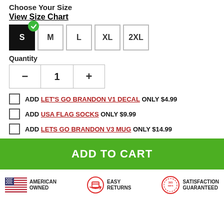Choose Your Size
View Size Chart
[Figure (other): Size selection buttons: S (selected, black), M, L, XL, 2XL]
Quantity
[Figure (other): Quantity stepper with minus button, value 1, plus button]
ADD LET'S GO BRANDON V1 DECAL ONLY $4.99
ADD USA FLAG SOCKS ONLY $9.99
ADD LETS GO BRANDON V3 MUG ONLY $14.99
ADD TO CART
[Figure (infographic): Trust badges: American Owned (US flag icon), Easy Returns (box with arrows icon), Satisfaction Guaranteed 365 days (circular badge icon)]